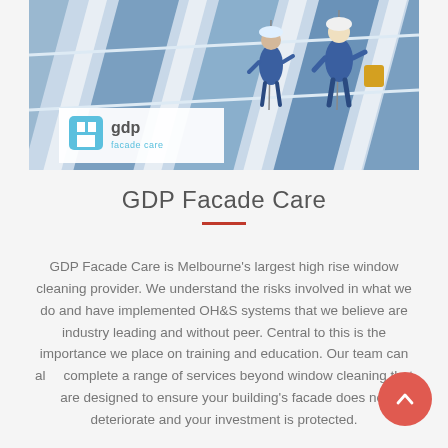[Figure (photo): High-rise window cleaners rappelling on the side of a building, wearing blue overalls and safety equipment, with the GDP Facade Care logo overlaid in the lower-left corner of the image.]
GDP Facade Care
GDP Facade Care is Melbourne's largest high rise window cleaning provider. We understand the risks involved in what we do and have implemented OH&S systems that we believe are industry leading and without peer. Central to this is the importance we place on training and education. Our team can also complete a range of services beyond window cleaning that are designed to ensure your building's facade does not deteriorate and your investment is protected.